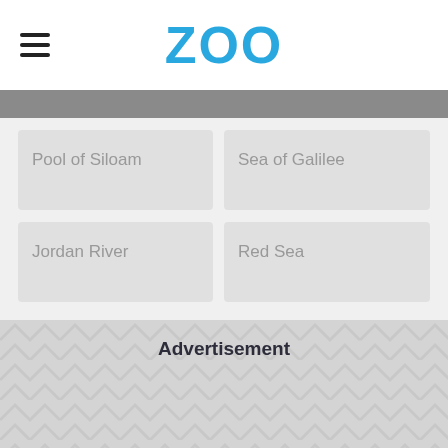ZOO
Pool of Siloam
Sea of Galilee
Jordan River
Red Sea
Advertisement